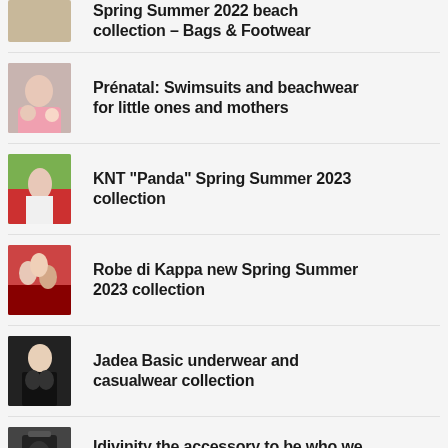Spring Summer 2022 beach collection – Bags & Footwear
Prénatal: Swimsuits and beachwear for little ones and mothers
KNT “Panda” Spring Summer 2023 collection
Robe di Kappa new Spring Summer 2023 collection
Jadea Basic underwear and casualwear collection
Idivinity the accessory to be who we want